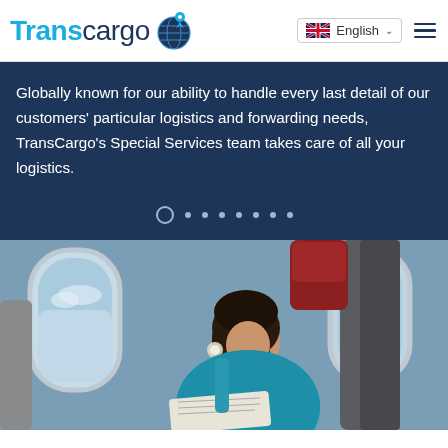TransCargo [logo] | English [language selector] [hamburger menu]
Globally known for our ability to handle every last detail of our customers' particular logistics and forwarding needs, TransCargo's Special Services team takes care of all your logistics.
[Figure (other): Pagination dots: one open circle (active) followed by seven small filled dots]
[Figure (photo): A woman with long dark hair wearing a teal top sits in an airplane seat, looking out the oval window at a blue sky with clouds. She is holding a newspaper or document. Red and dark grey airline seat headrests are visible beside her.]